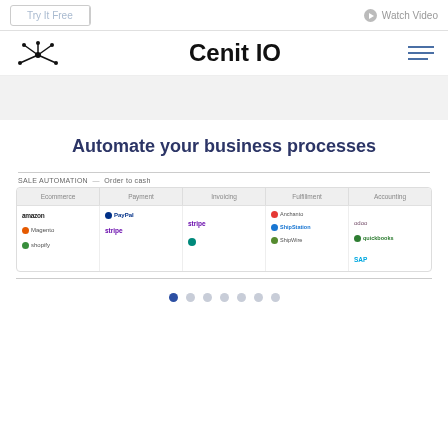Try It Free | Watch Video
Cenit IO
Automate your business processes
SALE AUTOMATION — Order to cash
[Figure (screenshot): Automation workflow card showing steps: Ecommerce, Payment, Invoicing, Fulfillment, Accounting with logos like Amazon, Magento, Shopify, PayPal, Stripe, Avalara, Anchanto, ShipStation, ShipWire, Odoo, QuickBooks, SAP]
Pagination dots (7 dots, first active)